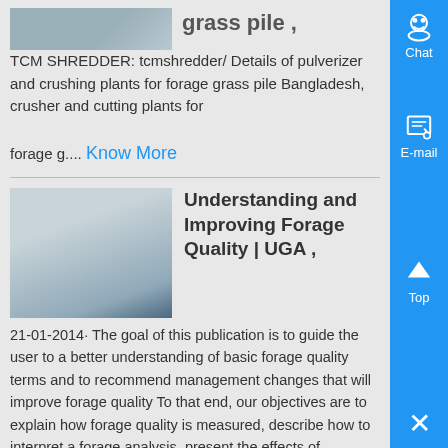[Figure (photo): Thumbnail image of machinery/grass pile, partially visible at top]
grass pile ,
TCM SHREDDER: tcmshredder/ Details of pulverizer and crushing plants for forage grass pile Bangladesh, crusher and cutting plants for

forage g.... Know More
[Figure (photo): Thumbnail image of a quarry/crusher facility with conveyor belts]
Understanding and Improving Forage Quality | UGA ,
21-01-2014· The goal of this publication is to guide the user to a better understanding of basic forage quality terms and to recommend management changes that will improve forage quality To that end, our objectives are to explain how forage quality is measured, describe how to interpret a forage analysis, present the effects of management on forage quality, and list the key management strategies that ,...